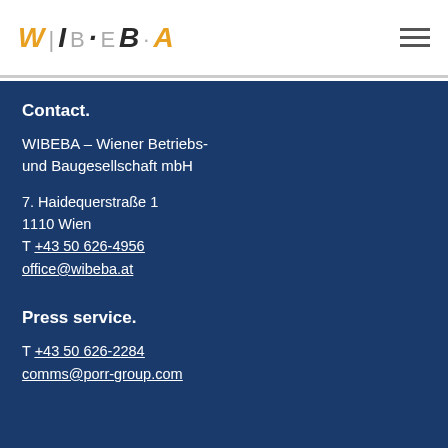[Figure (logo): WIBEBA logo in stylized italic letters with orange W and dark letters, separated by thin lines]
Contact.
WIBEBA – Wiener Betriebs- und Baugesellschaft mbH
7. Haidequerstraße 1
1110 Wien
T +43 50 626-4956
office@wibeba.at
Press service.
T +43 50 626-2284
comms@porr-group.com